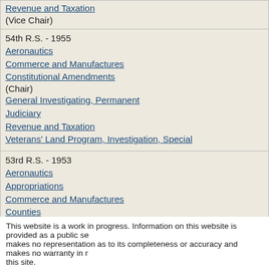Revenue and Taxation (Vice Chair)
54th R.S. - 1955
Aeronautics
Commerce and Manufactures
Constitutional Amendments (Chair)
General Investigating, Permanent
Judiciary
Revenue and Taxation
Veterans' Land Program, Investigation, Special
53rd R.S. - 1953
Aeronautics
Appropriations
Commerce and Manufactures
Counties (Chair)
Judiciary
Texas Commission on Higher Education
52nd R.S. - 1951
Aeronautics
Appropriations
Commerce and Manufactures
Judiciary
Public Lands and Buildings
This website is a work in progress. Information on this website is provided as a public se... makes no representation as to its completeness or accuracy and makes no warranty in r... this site.